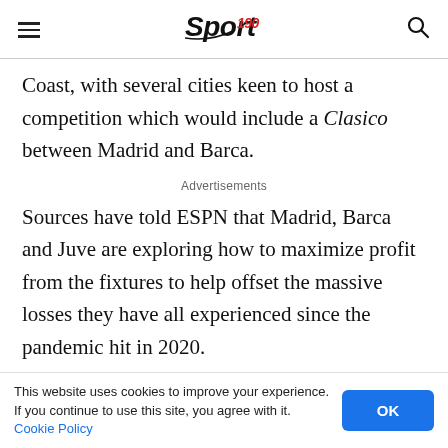Sport 190
Coast, with several cities keen to host a competition which would include a Clasico between Madrid and Barca.
Advertisements
Sources have told ESPN that Madrid, Barca and Juve are exploring how to maximize profit from the fixtures to help offset the massive losses they have all experienced since the pandemic hit in 2020.
Prior to the pandemic, all three sides regularly
This website uses cookies to improve your experience. If you continue to use this site, you agree with it. Cookie Policy